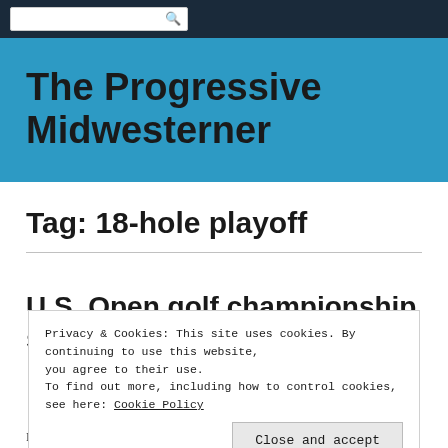[search box with icon]
The Progressive Midwesterner
Tag: 18-hole playoff
U.S. Open golf championship shaping
Privacy & Cookies: This site uses cookies. By continuing to use this website, you agree to their use.
To find out more, including how to control cookies, see here: Cookie Policy
Close and accept
Normally, I don't watch golf tournaments, but I made